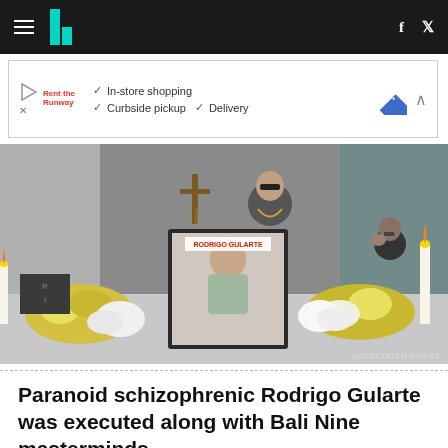HuffPost navigation header with hamburger menu, logo, Facebook and Twitter icons
[Figure (infographic): Advertisement banner showing Rent the Runway with checkmarks for In-store shopping, Curbside pickup, Delivery, and a blue diamond navigation icon]
[Figure (photo): Funeral scene showing a framed portrait of Rodrigo Gularte on a table surrounded by white and yellow flowers and candles. A cross is visible in the background. Two people stand nearby. Photo credit: ASSOCIATED PRESS]
Paranoid schizophrenic Rodrigo Gularte was executed along with Bali Nine masterminds